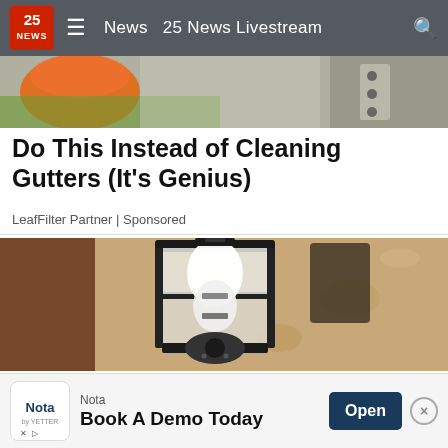25 NEWS  ☰  News  25 News Livestream  🔍
[Figure (photo): Partial top image showing a glass of orange liquid and other objects on a green surface, cropped at top]
Do This Instead of Cleaning Gutters (It's Genius)
LeafFilter Partner | Sponsored
[Figure (photo): Black outdoor wall lantern light fixture mounted on a textured stucco wall, with a white LED bulb visible inside the black metal cage frame]
Nota  Book A Demo Today  Open